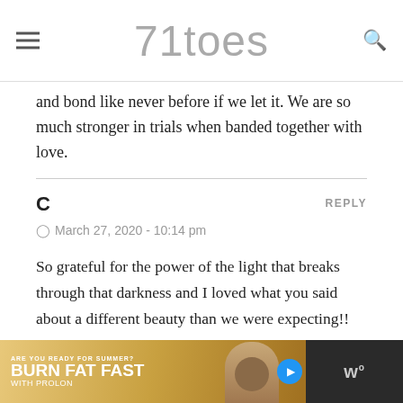71toes
and bond like never before if we let it. We are so much stronger in trials when banded together with love.
C
March 27, 2020 - 10:14 pm
So grateful for the power of the light that breaks through that darkness and I loved what you said about a different beauty than we were expecting!! The story of life and the growth through the struggle! Amen!! I’ve loved the slower pace of life this has allowed and the chance for more quiet moments together and individually. My brother shared with us a text that his parish shared...
[Figure (photo): Advertisement banner: ARE YOU READY FOR SUMMER? BURN FAT FAST WITH PROLON, showing a woman with sunglasses, with Prolon logo and a streaming icon on the right]